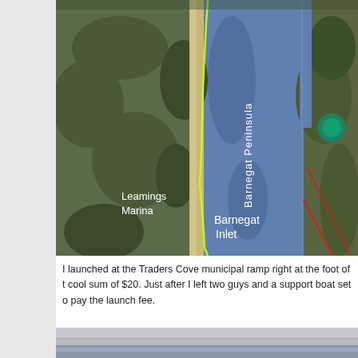[Figure (map): Satellite/aerial map showing Barnegat Peninsula and Barnegat Inlet area in New Jersey. Labels visible: 'Barnegat Peninsula' (rotated text in blue water area), 'Barnegat Inlet' (white text), 'Leamings Marina' (white text on left side). A yellow route line traces along the peninsula and a red line appears on the right side of the image.]
I launched at the Traders Cove municipal ramp right at the foot of t cool sum of $20. Just after I left two guys and a support boat set o pay the launch fee.
[Figure (photo): Partial view of a photo showing a grey/overcast sky and water, partially cut off at the bottom of the page.]